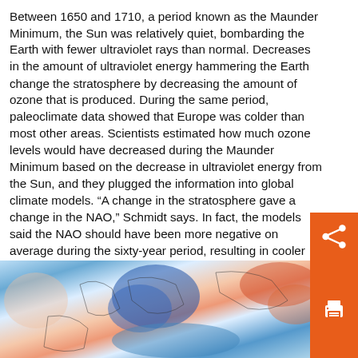Between 1650 and 1710, a period known as the Maunder Minimum, the Sun was relatively quiet, bombarding the Earth with fewer ultraviolet rays than normal. Decreases in the amount of ultraviolet energy hammering the Earth change the stratosphere by decreasing the amount of ozone that is produced. During the same period, paleoclimate data showed that Europe was colder than most other areas. Scientists estimated how much ozone levels would have decreased during the Maunder Minimum based on the decrease in ultraviolet energy from the Sun, and they plugged the information into global climate models. “A change in the stratosphere gave a change in the NAO,” Schmidt says. In fact, the models said the NAO should have been more negative on average during the sixty-year period, resulting in cooler temperatures over Europe.
[Figure (map): A world map showing temperature anomalies with blue (cold) regions over Europe and parts of North America, and red/orange (warm) regions over other areas, representing climate patterns during the Maunder Minimum period.]